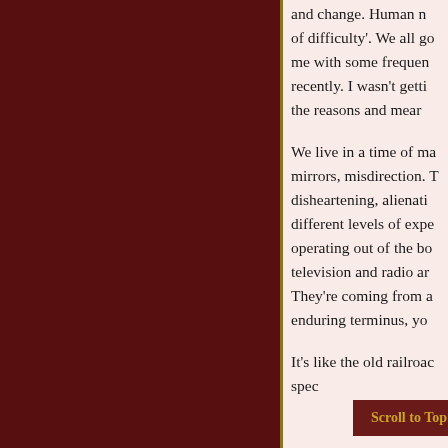and change. Human n of difficulty'. We all go me with some frequen recently. I wasn't getti the reasons and mear
We live in a time of ma mirrors, misdirection. T disheartening, alienati different levels of expe operating out of the bc television and radio ar They're coming from a enduring terminus, yo
It's like the old railroac spec